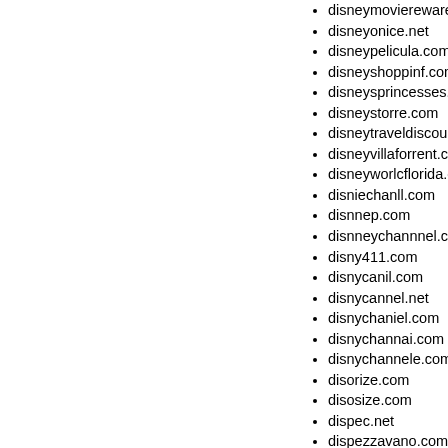disneymovierewares.com
disneyonice.net
disneypelicula.com
disneyshoppinf.com
disneysprincesses.com
disneystorre.com
disneytraveldiscounts.com
disneyvillaforrent.com
disneyworlcflorida.com
disniechanll.com
disnnep.com
disnneychannnel.com
disny411.com
disnycanil.com
disnycannel.net
disnychaniel.com
disnychannai.com
disnychannele.com
disorize.com
disosize.com
dispec.net
dispezzavano.com
displaypress.com
displayspecialist.com
dispute-solutions.net
disputesolution.net
dissentlondon.com
distec-it.com